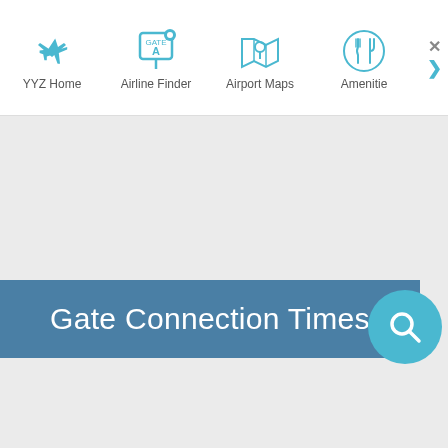YYZ Home | Airline Finder | Airport Maps | Amenities
[Figure (screenshot): Airport website navigation bar with icons for YYZ Home, Airline Finder, Airport Maps, Amenities]
Gate Connection Times